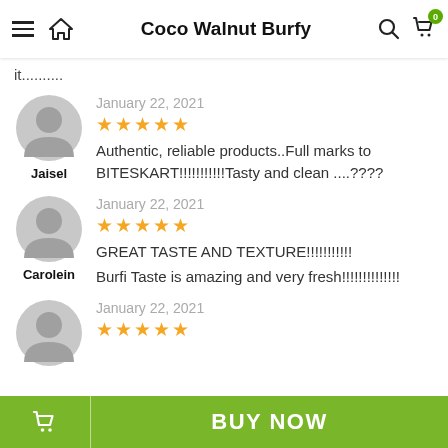Coco Walnut Burfy
it..........
January 22, 2021
★★★★★
Authentic, reliable products..Full marks to BITESKART!!!!!!!!!!!Tasty and clean ....????
Jaisel
January 22, 2021
★★★★★
GREAT TASTE AND TEXTURE!!!!!!!!!!!
Burfi Taste is amazing and very fresh!!!!!!!!!!!!!
Carolein
January 22, 2021
★★★★★
BUY NOW